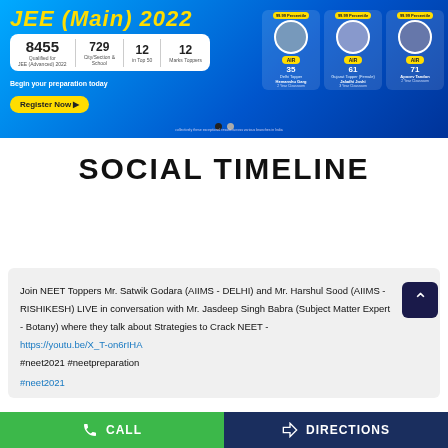[Figure (screenshot): JEE Main 2022 promotional banner with statistics: 8455 Qualified for JEE Advanced 2022, 729 city toppers, 12 in Top 50, 12 Marks Toppers. Shows toppers Hemanshu Garg (AIR 35), Jaladhi Joshi (AIR 61), Apoorv Tandon (AIR 71). Button: Register Now. Tagline: Begin your preparation today.]
SOCIAL TIMELINE
< Back to Timeline
Join NEET Toppers Mr. Satwik Godara (AIIMS - DELHI) and Mr. Harshul Sood (AIIMS - RISHIKESH) LIVE in conversation with Mr. Jasdeep Singh Babra (Subject Matter Expert - Botany) where they talk about Strategies to Crack NEET - https://youtu.be/X_T-on6rIHA #neet2021 #neetpreparation
#neet2021
CALL   DIRECTIONS